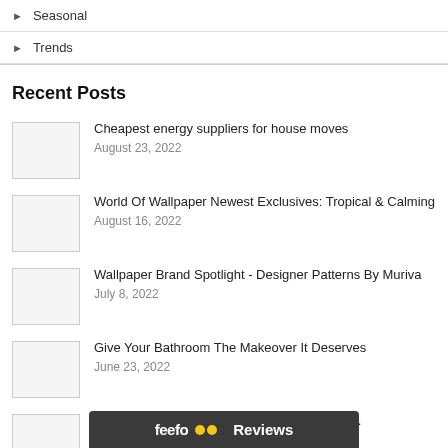Seasonal
Trends
Recent Posts
Cheapest energy suppliers for house moves
August 23, 2022
World Of Wallpaper Newest Exclusives: Tropical & Calming
August 16, 2022
Wallpaper Brand Spotlight - Designer Patterns By Muriva
July 8, 2022
Give Your Bathroom The Makeover It Deserves
June 23, 2022
Floral and ... ion For A Fresh Spring L...
[Figure (other): Feefo Reviews overlay bar at the bottom of the page]